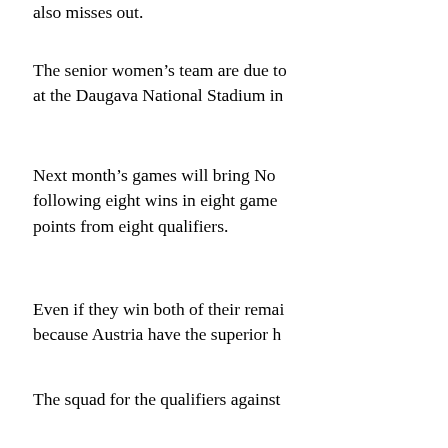also misses out.
The senior women's team are due to at the Daugava National Stadium in
Next month's games will bring No following eight wins in eight game points from eight qualifiers.
Even if they win both of their remai because Austria have the superior h
The squad for the qualifiers against
Jackie Burns Reading | Shannon Turner Wolvo Lilie Woods Mid Ulster